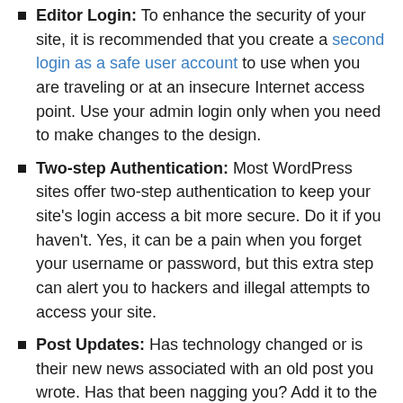Editor Login: To enhance the security of your site, it is recommended that you create a second login as a safe user account to use when you are traveling or at an insecure Internet access point. Use your admin login only when you need to make changes to the design.
Two-step Authentication: Most WordPress sites offer two-step authentication to keep your site's login access a bit more secure. Do it if you haven't. Yes, it can be a pain when you forget your username or password, but this extra step can alert you to hackers and illegal attempts to access your site.
Post Updates: Has technology changed or is their new news associated with an old post you wrote. Has that been nagging you? Add it to the list to update with the new information.
Gravatar/Profile Image: When was the last time you